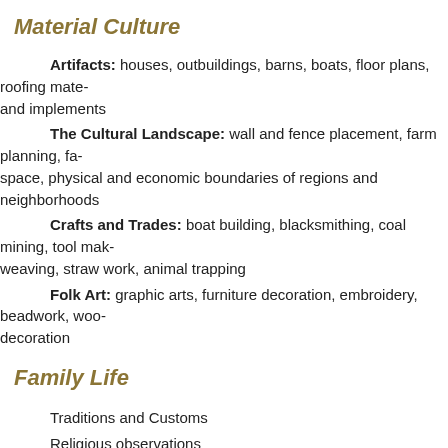Material Culture
Artifacts: houses, outbuildings, barns, boats, floor plans, roofing mate… and implements
The Cultural Landscape: wall and fence placement, farm planning, fa… space, physical and economic boundaries of regions and neighborhoods
Crafts and Trades: boat building, blacksmithing, coal mining, tool mak… weaving, straw work, animal trapping
Folk Art: graphic arts, furniture decoration, embroidery, beadwork, woo… decoration
Family Life
Traditions and Customs
Religious observations
Rites of passage: birth, birthdays, baptism, marriage, funerals
Foodways
Food preparation and recipes
Canning and curing processes
Traditional meal preparation